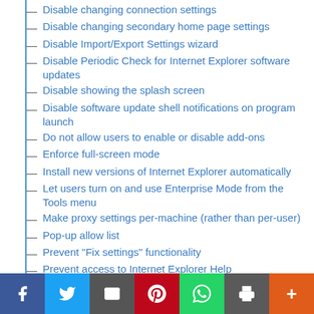Disable changing connection settings
Disable changing secondary home page settings
Disable Import/Export Settings wizard
Disable Periodic Check for Internet Explorer software updates
Disable showing the splash screen
Disable software update shell notifications on program launch
Do not allow users to enable or disable add-ons
Enforce full-screen mode
Install new versions of Internet Explorer automatically
Let users turn on and use Enterprise Mode from the Tools menu
Make proxy settings per-machine (rather than per-user)
Pop-up allow list
Prevent "Fix settings" functionality
Prevent access to Internet Explorer Help
Prevent bypassing SmartScreen Filter warnings about...